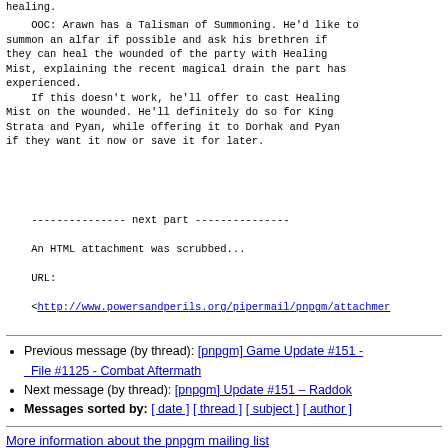healing.
OOC: Arawn has a Talisman of Summoning. He'd like to summon an alfar if possible and ask his brethren if they can heal the wounded of the party with Healing Mist, explaining the recent magical drain the part has experienced.
    If this doesn't work, he'll offer to cast Healing Mist on the wounded. He'll definitely do so for King Strata and Pyan, while offering it to Dorhak and Pyan if they want it now or save it for later.
--------------- next part ---------------
An HTML attachment was scrubbed...
URL:
<http://www.powersandperils.org/pipermail/pnpgm/attachmer
Previous message (by thread): [pnpgm] Game Update #151 - File #1125 - Combat Aftermath
Next message (by thread): [pnpgm] Update #151 – Raddok
Messages sorted by: [ date ] [ thread ] [ subject ] [ author ]
More information about the pnpgm mailing list